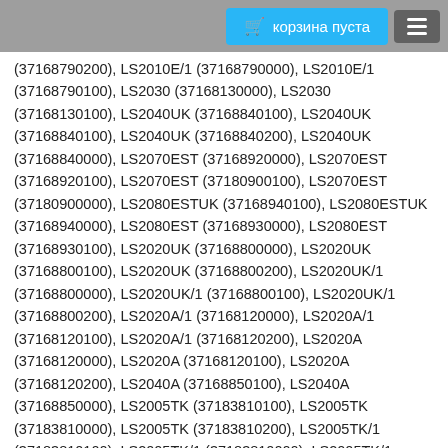корзина пуста
(37168790200), LS2010E/1 (37168790000), LS2010E/1 (37168790100), LS2030 (37168130000), LS2030 (37168130100), LS2040UK (37168840100), LS2040UK (37168840100), LS2040UK (37168840200), LS2040UK (37168840000), LS2070EST (37168920000), LS2070EST (37168920100), LS2070EST (37180900100), LS2070EST (37180900000), LS2080ESTUK (37168940100), LS2080ESTUK (37168940000), LS2080EST (37168930000), LS2080EST (37168930100), LS2020UK (37168800000), LS2020UK (37168800100), LS2020UK (37168800200), LS2020UK/1 (37168800000), LS2020UK/1 (37168800100), LS2020UK/1 (37168800200), LS2020A/1 (37168120000), LS2020A/1 (37168120100), LS2020A/1 (37168120200), LS2020A (37168120000), LS2020A (37168120100), LS2020A (37168120200), LS2040A (37168850100), LS2040A (37168850000), LS2005TK (37183810100), LS2005TK (37183810000), LS2005TK (37183810200), LS2005TK/1 (37183810100), LS2005TK/1 (37183810000), LS2005TK/1 (37183810200), LS2058ST (37183950000), LS2058ST (37183950100), LS2020TK (37183820200), LS2020TK